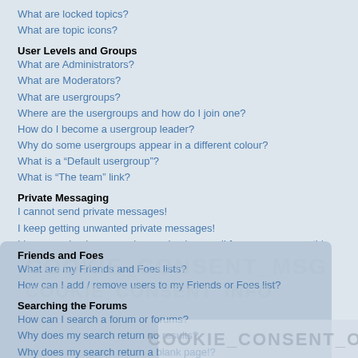What are locked topics?
What are topic icons?
User Levels and Groups
What are Administrators?
What are Moderators?
What are usergroups?
Where are the usergroups and how do I join one?
How do I become a usergroup leader?
Why do some usergroups appear in a different colour?
What is a “Default usergroup”?
What is “The team” link?
Private Messaging
I cannot send private messages!
I keep getting unwanted private messages!
I have received a spamming or abusive email from someone on this board!
Friends and Foes
What are my Friends and Foes lists?
How can I add / remove users to my Friends or Foes list?
Searching the Forums
How can I search a forum or forums?
Why does my search return no results?
Why does my search return a blank page!?
How do I search for members?